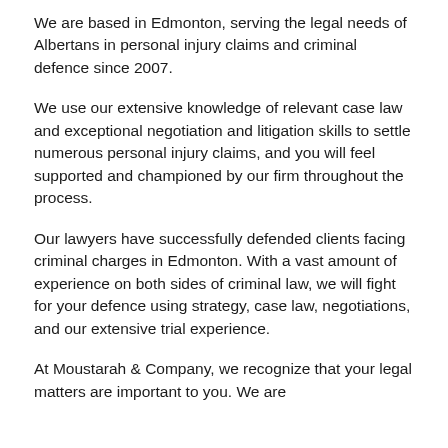We are based in Edmonton, serving the legal needs of Albertans in personal injury claims and criminal defence since 2007.
We use our extensive knowledge of relevant case law and exceptional negotiation and litigation skills to settle numerous personal injury claims, and you will feel supported and championed by our firm throughout the process.
Our lawyers have successfully defended clients facing criminal charges in Edmonton. With a vast amount of experience on both sides of criminal law, we will fight for your defence using strategy, case law, negotiations, and our extensive trial experience.
At Moustarah & Company, we recognize that your legal matters are important to you. We are